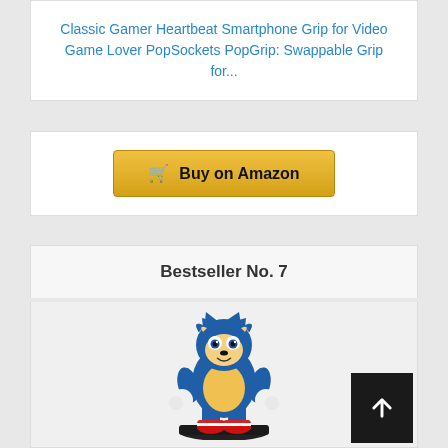Classic Gamer Heartbeat Smartphone Grip for Video Game Lover PopSockets PopGrip: Swappable Grip for...
Buy on Amazon
Bestseller No. 7
[Figure (photo): Sonic the Hedgehog figurine/cable guy standing on a black base, wearing red shoes, with blue spines and yellow belly, white gloves]